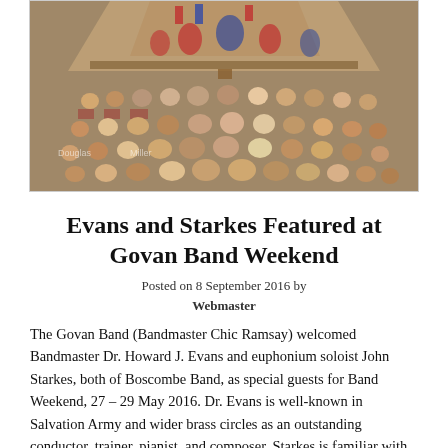[Figure (photo): Overhead/elevated view of a brass band performing on stage in a church or concert hall, with a large audience seated in red chairs facing the stage. The band members are visible at the top with instruments. A watermark reading 'Douglas Miller' is visible in the lower left area of the photo.]
Evans and Starkes Featured at Govan Band Weekend
Posted on 8 September 2016 by
Webmaster
The Govan Band (Bandmaster Chic Ramsay) welcomed Bandmaster Dr. Howard J. Evans and euphonium soloist John Starkes, both of Boscombe Band, as special guests for Band Weekend, 27 – 29 May 2016. Dr. Evans is well-known in Salvation Army and wider brass circles as an outstanding conductor, trainer, pianist, and composer. Starkes is familiar with Govan, having attended the corps for several years prior to his relocation to Bournemouth.